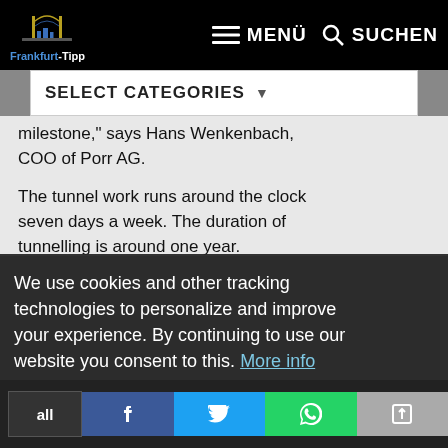Frankfurt-Tipp | MENÜ | SUCHEN
SELECT CATEGORIES
milestone," says Hans Wenkenbach, COO of Porr AG.
The tunnel work runs around the clock seven days a week. The duration of tunnelling is around one year.
We use cookies and other tracking technologies to personalize and improve your experience. By continuing to use our website you consent to this. More info
Tooltip schließen
Frankfurt-Tipp auf einen Klick! Einfach auf das Symbol tippen und zum Home-Bildschirm hinzufügen.
all | Facebook | Twitter | WhatsApp | Share